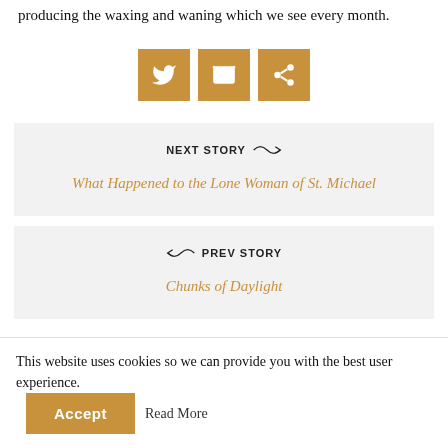producing the waxing and waning which we see every month.
[Figure (infographic): Three social share buttons: Twitter bird icon, envelope/mail icon, and share/network icon, all on golden-brown square backgrounds]
NEXT STORY
What Happened to the Lone Woman of St. Michael
PREV STORY
Chunks of Daylight
This website uses cookies so we can provide you with the best user experience. Accept Read More